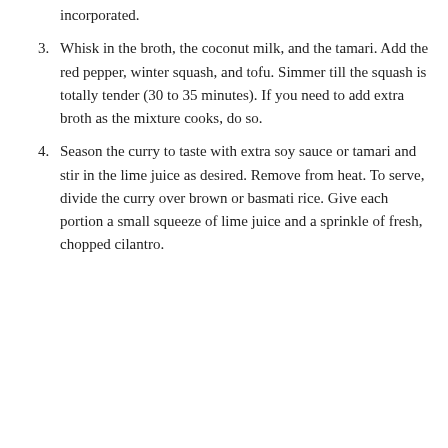incorporated.
3. Whisk in the broth, the coconut milk, and the tamari. Add the red pepper, winter squash, and tofu. Simmer till the squash is totally tender (30 to 35 minutes). If you need to add extra broth as the mixture cooks, do so.
4. Season the curry to taste with extra soy sauce or tamari and stir in the lime juice as desired. Remove from heat. To serve, divide the curry over brown or basmati rice. Give each portion a small squeeze of lime juice and a sprinkle of fresh, chopped cilantro.